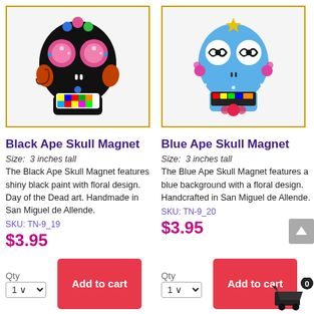[Figure (photo): Black Ape Skull Magnet product photo - colorful sugar skull with black background, floral designs, pink circular eyes, multicolor checkerboard mouth]
[Figure (photo): Blue Ape Skull Magnet product photo - blue background sugar skull with spiral eyes, colorful decorative teeth, flower designs]
Black Ape Skull Magnet
Blue Ape Skull Magnet
Size:  3 inches tall
Size:  3 inches tall
The Black Ape Skull Magnet features shiny black paint with floral design.  Day of the Dead art.  Handmade in San Miguel de Allende.
The Blue Ape Skull Magnet features a blue background with a floral design.  Handcrafted in San Miguel de Allende.
SKU: TN-9_19
SKU: TN-9_20
$3.95
$3.95